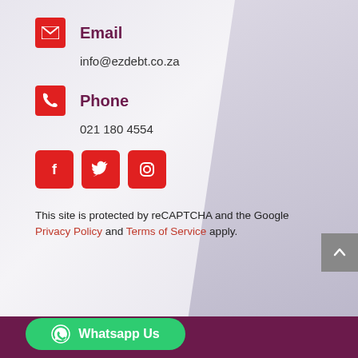Email
info@ezdebt.co.za
Phone
021 180 4554
[Figure (infographic): Three red square social media icon buttons: Facebook (f), Twitter (bird), Instagram (camera outline)]
This site is protected by reCAPTCHA and the Google Privacy Policy and Terms of Service apply.
Whatsapp Us